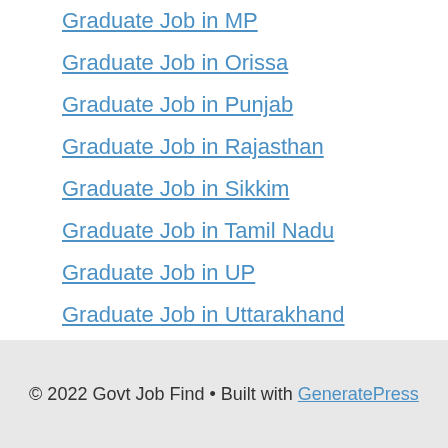Graduate Job in MP
Graduate Job in Orissa
Graduate Job in Punjab
Graduate Job in Rajasthan
Graduate Job in Sikkim
Graduate Job in Tamil Nadu
Graduate Job in UP
Graduate Job in Uttarakhand
Graduate Job in WB
Gramin Dak Sevak
© 2022 Govt Job Find • Built with GeneratePress